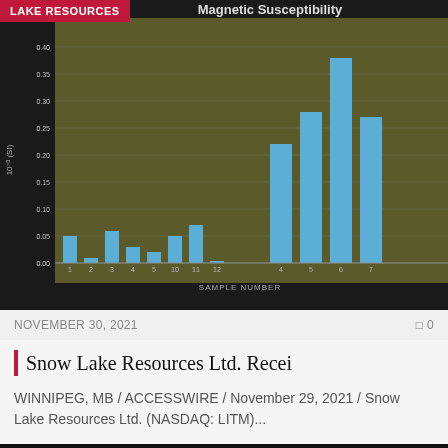[Figure (bar-chart): Magnetic Susceptibility]
NOVEMBER 30, 2021
Snow Lake Resources Ltd. Recei
WINNIPEG, MB / ACCESSSWIRE / November 29, 2021 / Snow Lake Resources Ltd. (NASDAQ: LITM)...
[Figure (line-chart): Stock price chart for LAKE RESOURCES showing price around 12.00-13.00 range]